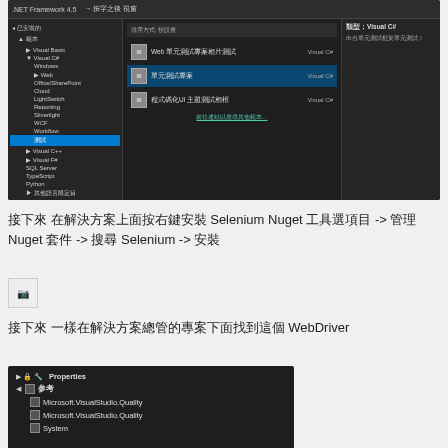[Figure (screenshot): Visual Studio new project dialog screenshot showing project templates including test project types, left side tree shows Visual C# selected with Workflow/Test highlighted]
接下來 在解決方案上面按右鍵安裝 Selenium Nuget 工具選項目 -> 管理 Nuget 套件 -> 搜尋 Selenium -> 安裝
[Figure (photo): Broken/missing image placeholder]
接下來 一樣在解決方案總管的專案下面找到這個 WebDriver
[Figure (screenshot): Visual Studio Solution Explorer showing Properties, 參考 (References) with Microsoft.VisualStudio.Quality, Microsoft.VisualStudio.Quality, and System entries]